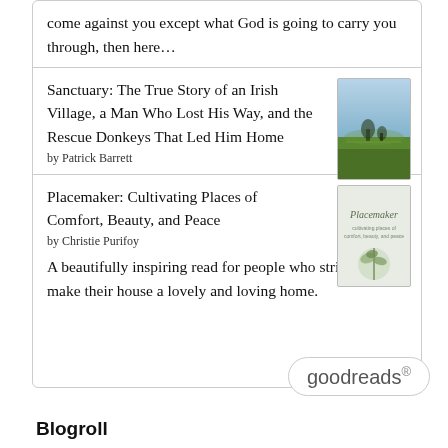come against you except what God is going to carry you through, then here…
Sanctuary: The True Story of an Irish Village, a Man Who Lost His Way, and the Rescue Donkeys That Led Him Home
by Patrick Barrett
Placemaker: Cultivating Places of Comfort, Beauty, and Peace
by Christie Purifoy
A beautifully inspiring read for people who strive to make their house a lovely and loving home.
[Figure (logo): goodreads logo badge]
Blogroll